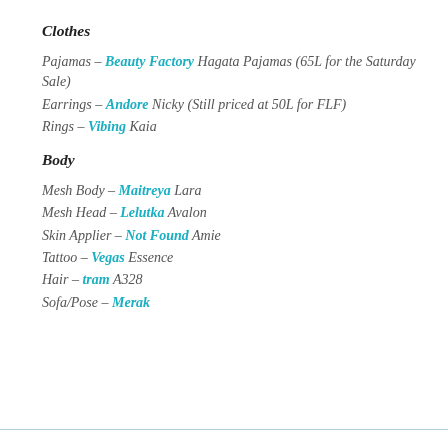Clothes
Pajamas – Beauty Factory Hagata Pajamas (65L for the Saturday Sale)
Earrings – Andore Nicky (Still priced at 50L for FLF)
Rings – Vibing Kaia
Body
Mesh Body – Maitreya Lara
Mesh Head – Lelutka Avalon
Skin Applier – Not Found Amie
Tattoo – Vegas Essence
Hair – tram A328
Sofa/Pose – Merak